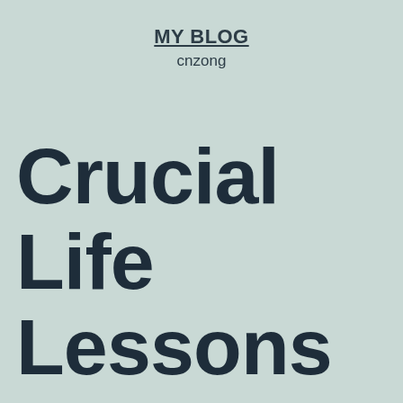MY BLOG
cnzong
Crucial Life Lessons Web Source Taught Us.